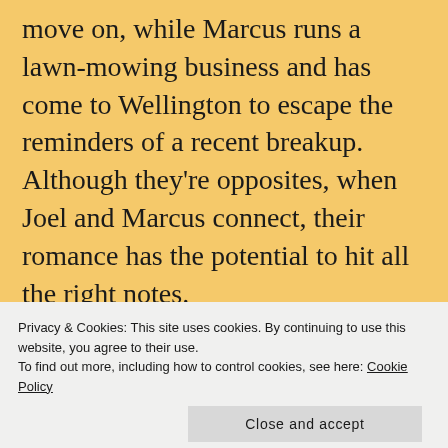move on, while Marcus runs a lawn-mowing business and has come to Wellington to escape the reminders of a recent breakup. Although they're opposites, when Joel and Marcus connect, their romance has the potential to hit all the right notes.

Too bad neither of them feels ready for new love.
Privacy & Cookies: This site uses cookies. By continuing to use this website, you agree to their use.
To find out more, including how to control cookies, see here: Cookie Policy
Close and accept
possibility draws them towards